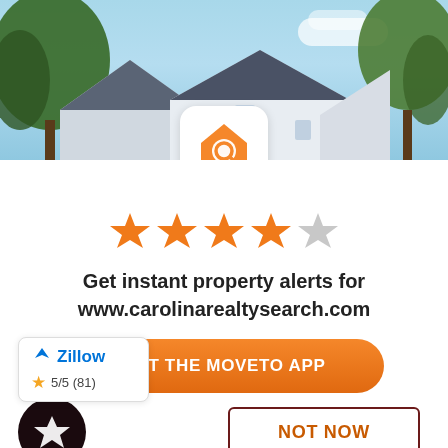[Figure (photo): Photo of house rooftops against a blue sky with trees, with an orange house-search app icon overlaid at the bottom center]
[Figure (infographic): 4.5 out of 5 stars rating display in orange]
Get instant property alerts for www.carolinarealtysearch.com
[Figure (logo): Zillow badge showing 5/5 (81) rating with a yellow star]
GET THE MOVETO APP
[Figure (logo): MoveTo app icon: dark circle with white star]
NOT NOW